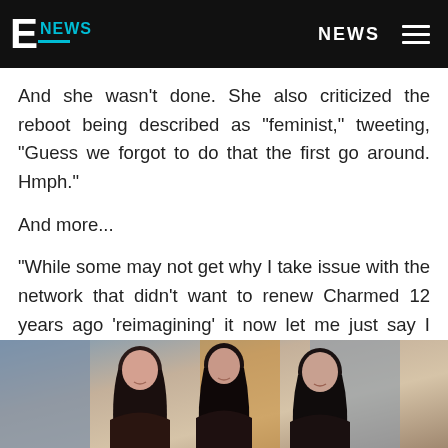E NEWS  |  NEWS
And she wasn't done. She also criticized the reboot being described as "feminist," tweeting, "Guess we forgot to do that the first go around. Hmph."
And more...
"While some may not get why I take issue with the network that didn't want to renew Charmed 12 years ago 'reimagining' it now let me just say I understand it perfectly. Also this kinda stuff given all that Rose and Alyssa have done lately....um no. Just no."
[Figure (photo): Photo of women, likely cast members, shown from shoulders up against a blurred background]